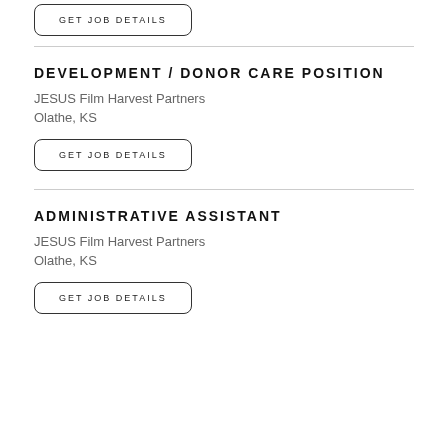GET JOB DETAILS
DEVELOPMENT / DONOR CARE POSITION
JESUS Film Harvest Partners
Olathe, KS
GET JOB DETAILS
ADMINISTRATIVE ASSISTANT
JESUS Film Harvest Partners
Olathe, KS
GET JOB DETAILS